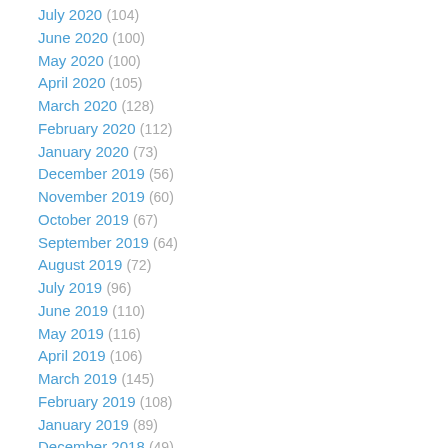July 2020 (104)
June 2020 (100)
May 2020 (100)
April 2020 (105)
March 2020 (128)
February 2020 (112)
January 2020 (73)
December 2019 (56)
November 2019 (60)
October 2019 (67)
September 2019 (64)
August 2019 (72)
July 2019 (96)
June 2019 (110)
May 2019 (116)
April 2019 (106)
March 2019 (145)
February 2019 (108)
January 2019 (89)
December 2018 (49)